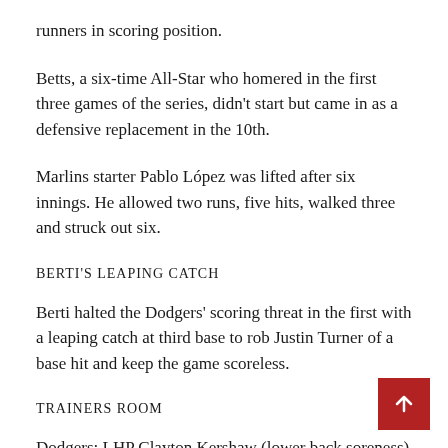runners in scoring position.
Betts, a six-time All-Star who homered in the first three games of the series, didn’t start but came in as a defensive replacement in the 10th.
Marlins starter Pablo López was lifted after six innings. He allowed two runs, five hits, walked three and struck out six.
BERTI’S LEAPING CATCH
Berti halted the Dodgers’ scoring threat in the first with a leaping catch at third base to rob Justin Turner of a base hit and keep the game scoreless.
TRAINERS ROOM
Dodgers: LHP Clayton Kershaw (lower back soreness) threw a